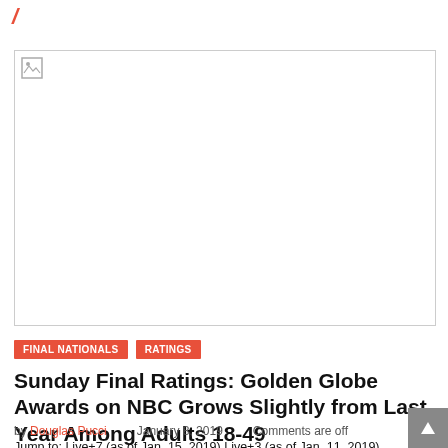[Figure (photo): Broken/unloaded image placeholder with small broken image icon in top-left corner]
FINAL NATIONALS   RATINGS
Sunday Final Ratings: Golden Globe Awards on NBC Grows Slightly from Last Year Among Adults 18-49
by Douglas Pucci   January 8, 2019   Comments are off
Jump to: Live+7 (as of Jan. 15, 2019) Live+3 (as of Jan. 11, 2019)